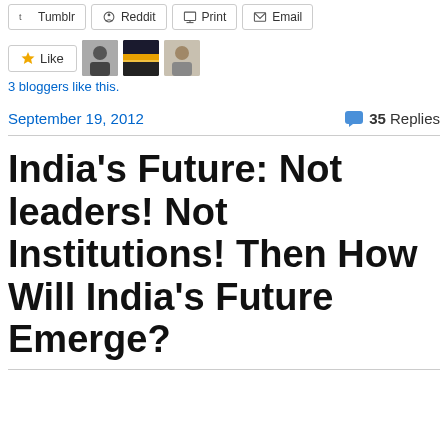[Figure (other): Social sharing buttons row: Tumblr, Reddit, Print, Email]
[Figure (other): Like button with 3 blogger avatar thumbnails]
3 bloggers like this.
September 19, 2012
35 Replies
India’s Future: Not leaders! Not Institutions! Then How Will India’s Future Emerge?